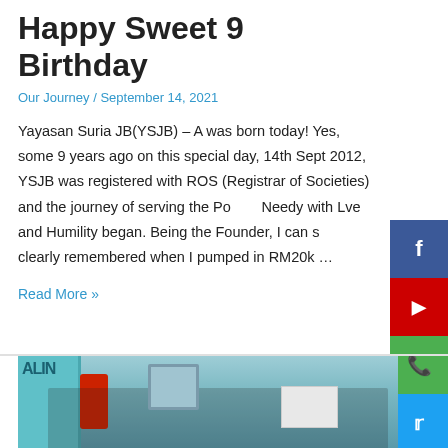Happy Sweet 9 Birthday
Our Journey / September 14, 2021
Yayasan Suria JB(YSJB) – A was born today! Yes, some 9 years ago on this special day, 14th Sept 2012, YSJB was registered with ROS (Registrar of Societies) and the journey of serving the Poor & Needy with Lve and Humility began. Being the Founder, I can still clearly remembered when I pumped in RM20k …
Read More »
[Figure (photo): Group photo of several people wearing face masks and giving thumbs up inside what appears to be a facility with teal walls and signage.]